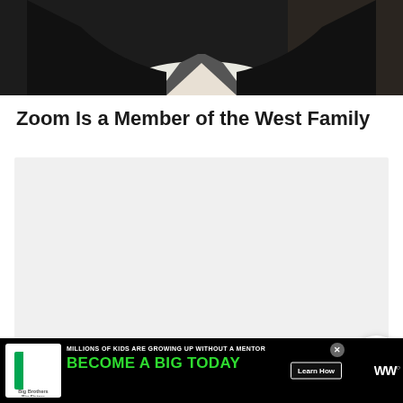[Figure (photo): Partial photo of a person wearing a dark suit jacket and white shirt, cropped to show the torso/collar area against a dark background.]
Zoom Is a Member of the West Family
[Figure (screenshot): A large light gray content block area, with a floating share widget showing count '0' and a share icon button, and a 'WHAT'S NEXT' panel with thumbnail and text 'All About the Latest Seas...']
[Figure (infographic): Advertisement banner: Big Brothers Big Sisters logo on black background with green text 'BECOME A BIG TODAY' and 'MILLIONS OF KIDS ARE GROWING UP WITHOUT A MENTOR' with a 'Learn How' button. WW logo on right.]